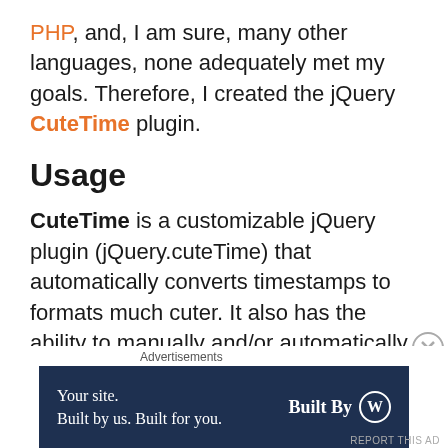PHP, and, I am sure, many other languages, none adequately met my goals. Therefore, I created the jQuery CuteTime plugin.
Usage
CuteTime is a customizable jQuery plugin (jQuery.cuteTime) that automatically converts timestamps to formats much cuter. It also has the ability to manually and/or automatically update timestamps on a controlled interval.
If used via Selector, CuteTime replaces the text of the
[Figure (other): Advertisement banner: 'Your site. Built by us. Built for you. Built By WordPress logo' on dark navy background, with close button (X in circle) and 'REPORT THIS AD' link.]